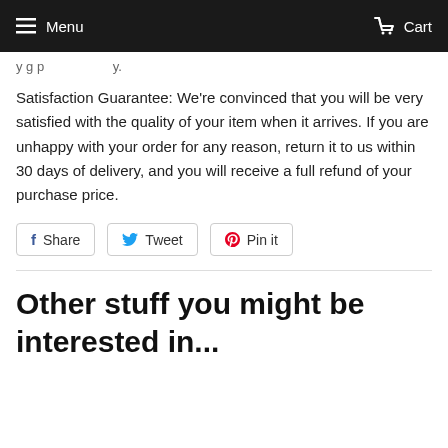Menu   Cart
y g p y.
Satisfaction Guarantee: We're convinced that you will be very satisfied with the quality of your item when it arrives. If you are unhappy with your order for any reason, return it to us within 30 days of delivery, and you will receive a full refund of your purchase price.
Share   Tweet   Pin it
Other stuff you might be interested in...